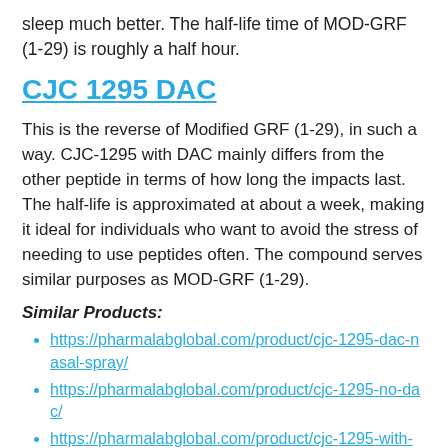sleep much better. The half-life time of MOD-GRF (1-29) is roughly a half hour.
CJC 1295 DAC
This is the reverse of Modified GRF (1-29), in such a way. CJC-1295 with DAC mainly differs from the other peptide in terms of how long the impacts last. The half-life is approximated at about a week, making it ideal for individuals who want to avoid the stress of needing to use peptides often. The compound serves similar purposes as MOD-GRF (1-29).
Similar Products:
https://pharmalabglobal.com/product/cjc-1295-dac-nasal-spray/
https://pharmalabglobal.com/product/cjc-1295-no-dac/
https://pharmalabglobal.com/product/cjc-1295-with-